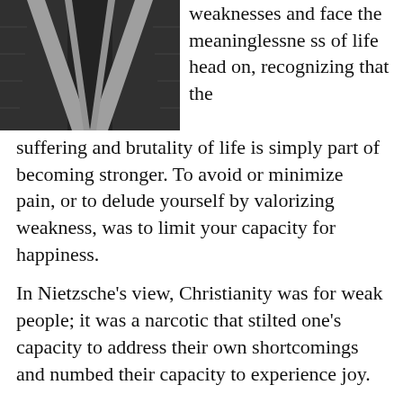[Figure (photo): Black and white photograph showing converging railway tracks or road lines from above, with dark gravel/cobblestone texture and white lines diverging outward.]
weaknesses and face the meaninglessness of life head on, recognizing that the suffering and brutality of life is simply part of becoming stronger. To avoid or minimize pain, or to delude yourself by valorizing weakness, was to limit your capacity for happiness.
In Nietzsche’s view, Christianity was for weak people; it was a narcotic that stilted one’s capacity to address their own shortcomings and numbed their capacity to experience joy.
Alain de Botton summarizes Nietzsche’s view of Christianity: